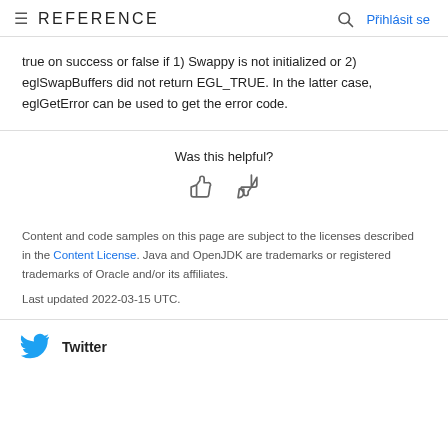≡ REFERENCE   🔍 Přihlásit se
true on success or false if 1) Swappy is not initialized or 2) eglSwapBuffers did not return EGL_TRUE. In the latter case, eglGetError can be used to get the error code.
Was this helpful?
Content and code samples on this page are subject to the licenses described in the Content License. Java and OpenJDK are trademarks or registered trademarks of Oracle and/or its affiliates.
Last updated 2022-03-15 UTC.
Twitter